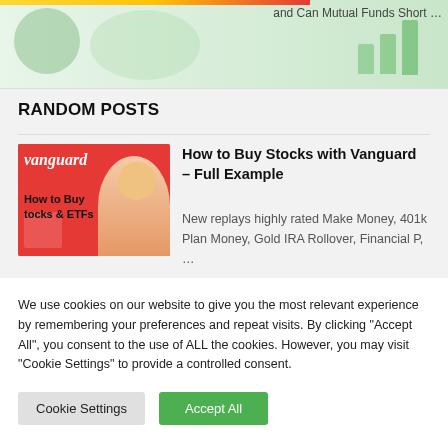[Figure (screenshot): Top area showing partial webpage header with colorful background and text 'and Can Mutual Funds Short ...']
RANDOM POSTS
[Figure (photo): Thumbnail image for Vanguard post showing Vanguard logo and 'How to Buy Stocks & ETFs' text with a person]
How to Buy Stocks with Vanguard – Full Example
New replays highly rated Make Money, 401k Plan Money, Gold IRA Rollover, Financial P, ...
We use cookies on our website to give you the most relevant experience by remembering your preferences and repeat visits. By clicking "Accept All", you consent to the use of ALL the cookies. However, you may visit "Cookie Settings" to provide a controlled consent.